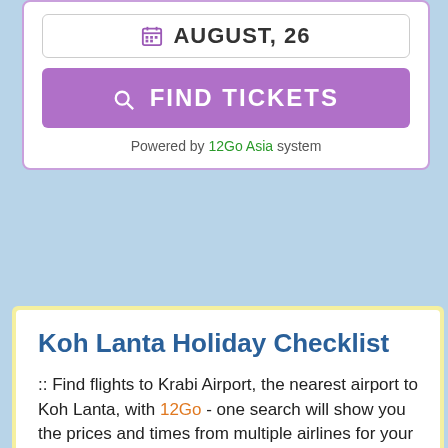AUGUST, 26
FIND TICKETS
Powered by 12Go Asia system
Koh Lanta Holiday Checklist
:: Find flights to Krabi Airport, the nearest airport to Koh Lanta, with 12Go - one search will show you the prices and times from multiple airlines for your trip. A real timesaver.
:: Once you've decided your flight, the fastest way from Krabi Airport to Koh Lanta is an exciting speedboat and minivan Express Transfer - book your transfer online.
:: Find available places to stay on Koh Lanta at Booking.com - usually you can reserve a room with no upfront payment. Pay when you